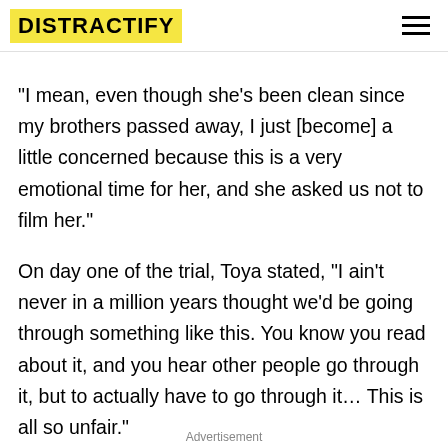DISTRACTIFY
"I mean, even though she's been clean since my brothers passed away, I just [become] a little concerned because this is a very emotional time for her, and she asked us not to film her."
On day one of the trial, Toya stated, "I ain't never in a million years thought we'd be going through something like this. You know you read about it, and you hear other people go through it, but to actually have to go through it… This is all so unfair."
New episodes of T.I. & Tiny: Friends & Family Hustle air Mondays at 9 p.m. ET on VH1.
Advertisement